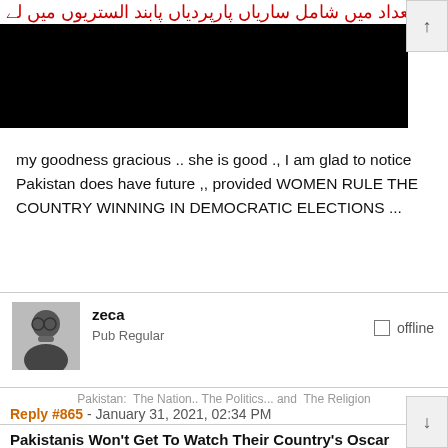[Figure (screenshot): Urdu language red text header at top, followed by a black redacted bar image below it, with a scroll-up arrow button on the right side]
my goodness gracious .. she is good ., I am glad to notice Pakistan does have future ,, provided WOMEN RULE THE COUNTRY WINNING IN DEMOCRATIC ELECTIONS ...
zeca
Pub Regular
offline
Pakistan:  The Nation.. The Politics... and  The Religion
Reply #865 - January 31, 2021, 02:34 PM
Pakistanis Won't Get To Watch Their Country's Oscar Submission
https://www.npr.org/2021/01/25/960465889/pak...
https://twitter.com/diaahadid/status/135394924...